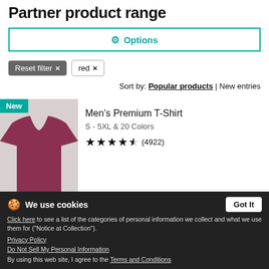Partner product range
Options
Reset filter ×   red ×
Sort by: Popular products | New entries
[Figure (photo): Red maroon men's premium t-shirt with New badge]
Men's Premium T-Shirt
S - 5XL & 20 Colors
★★★★½ (4922)
[Figure (photo): Dark women's premium t-shirt with New badge (partially visible, overlaid by cookie banner)]
Women's Premium T-Shirt
S - 3XL & 17 Colors
(1259)
We use cookies
Click here to see a list of the categories of personal information we collect and what we use them for ("Notice at Collection").
Privacy Policy
Do Not Sell My Personal Information
By using this web site, I agree to the Terms and Conditions